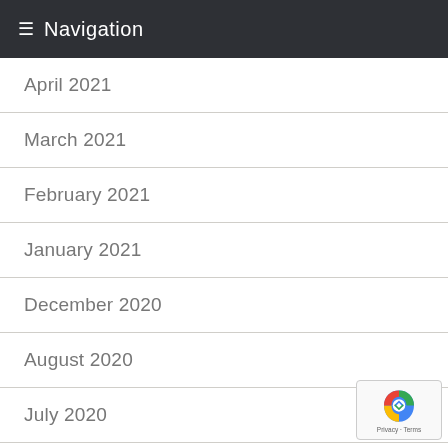Navigation
April 2021
March 2021
February 2021
January 2021
December 2020
August 2020
July 2020
June 2020
May 2020